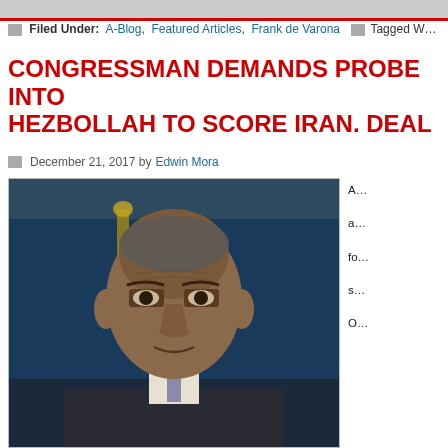[image strip at top]
Filed Under: A-Blog, Featured Articles, Frank de Varona   Tagged W…
CONGRESSMAN DEMANDS PROBE INTO HEZBOLLAH TO SCORE IRAN. DEAL
December 21, 2017 by Edwin Mora
[Figure (photo): Close-up photo of Barack Obama in a suit with a serious expression, White House briefing room in background with gold chandelier and blue backdrop]
A… a… fo… s… O…